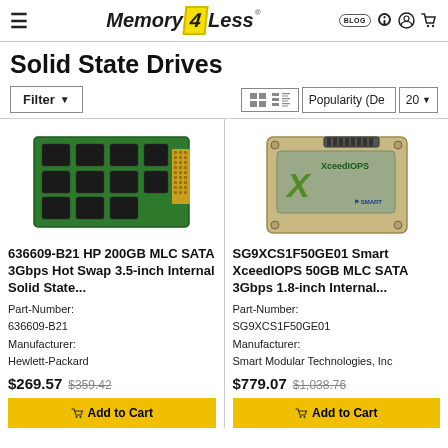Memory4Less - Solid State Drives
Solid State Drives
[Figure (photo): HP 200GB MLC SATA 3Gbps Hot Swap 3.5-inch Internal Solid State Drive - green circuit board SSD]
636609-B21 HP 200GB MLC SATA 3Gbps Hot Swap 3.5-inch Internal Solid State...
Part-Number: 636609-B21
Manufacturer: Hewlett-Packard
$269.57  $359.42
[Figure (photo): Smart XceedIOPS 50GB MLC SATA 3Gbps 1.8-inch Internal Solid State Drive - beige/gold colored SSD with green logo]
SG9XCS1F50GE01 Smart XceedIOPS 50GB MLC SATA 3Gbps 1.8-inch Internal...
Part-Number: SG9XCS1F50GE01
Manufacturer: Smart Modular Technologies, Inc
$779.07  $1,038.76